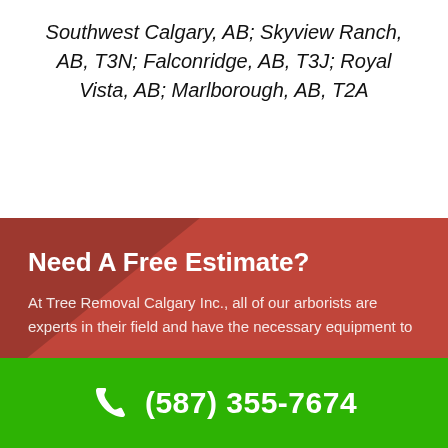Southwest Calgary, AB; Skyview Ranch, AB, T3N; Falconridge, AB, T3J; Royal Vista, AB; Marlborough, AB, T2A
[Figure (infographic): Red banner section with dark triangular overlay on upper-left, containing heading 'Need A Free Estimate?' and body text about Tree Removal Calgary Inc. arborists]
Need A Free Estimate?
At Tree Removal Calgary Inc., all of our arborists are experts in their field and have the necessary equipment to
(587) 355-7674